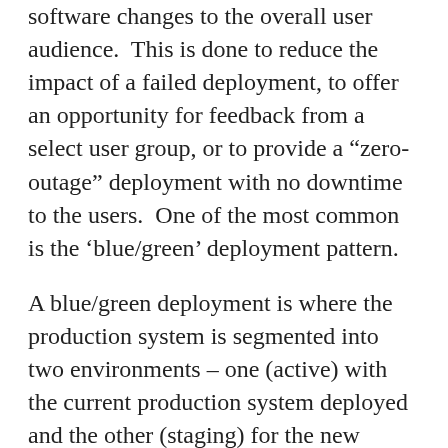software changes to the overall user audience.  This is done to reduce the impact of a failed deployment, to offer an opportunity for feedback from a select user group, or to provide a “zero-outage” deployment with no downtime to the users.  One of the most common is the ‘blue/green’ deployment pattern.
A blue/green deployment is where the production system is segmented into two environments – one (active) with the current production system deployed and the other (staging) for the new release.  As shown in Figure 1 below these environments switch roles from one release to the next, acting in turn as the